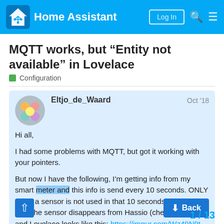Home Assistant
MQTT works, but “Entity not available” in Lovelace
Configuration
Eltjo_de_Waard  Oct '18

Hi all,

I had some problems with MQTT, but got it working with your pointers.

But now I have the following, I’m getting info from my smart meter and this info is send every 10 seconds. ONLY when a sensor is not used in that 10 seconds (gas for in...) the sensor disappears from Hassio (checked "<>") and Lovelace looks like this: https://imgur.com/Wz49N9t